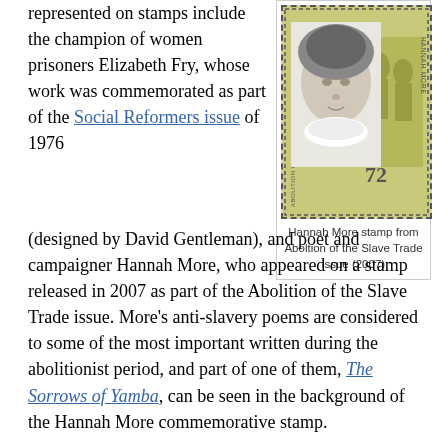represented on stamps include the champion of women prisoners Elizabeth Fry, whose work was commemorated as part of the Social Reformers issue of 1976 (designed by David Gentleman), and poet and campaigner Hannah More, who appeared on a stamp released in 2007 as part of the Abolition of the Slave Trade issue. More’s anti-slavery poems are considered to some of the most important written during the abolitionist period, and part of one of them, The Sorrows of Yamba, can be seen in the background of the Hannah More commemorative stamp.
[Figure (photo): Hannah More commemorative stamp showing a portrait of Hannah More with text 'ABOLITION OF THE SLAVE TRADE 1807' and 'HANNAH MORE' with value 72p, from the Abolition of the Slave Trade issue 2007]
Hannah More stamp from Aboltion of the Slave Trade issue (2007)